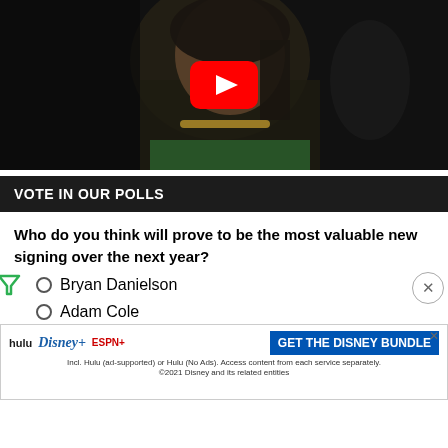[Figure (screenshot): YouTube video thumbnail showing a man with long dark hair and a gold chain necklace, with a red YouTube play button overlay in the center, on a black background.]
VOTE IN OUR POLLS
Who do you think will prove to be the most valuable new signing over the next year?
Bryan Danielson
Adam Cole
Ruby...
An...
Malakai Black
[Figure (screenshot): Disney Bundle advertisement banner showing Hulu, Disney+, and ESPN+ logos with 'GET THE DISNEY BUNDLE' call-to-action text and fine print.]